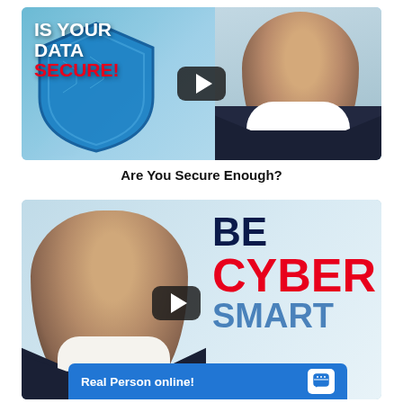[Figure (screenshot): Video thumbnail: cybersecurity themed image with text 'IS YOUR DATA SECURE?' in white and red bold font overlaid on a blue shield graphic, with a man in glasses and dark jacket on the right, and a YouTube-style play button in the center]
Are You Secure Enough?
[Figure (screenshot): Video thumbnail: man in glasses on the left, with bold text 'BE CYBER SMART' in dark blue and red on the right, YouTube-style play button in center. A blue chat bar at bottom reads 'Real Person online!' with a chat icon.]